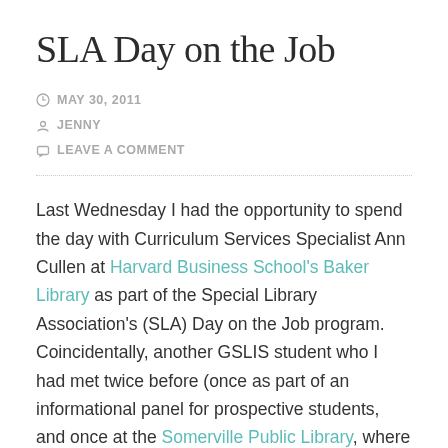SLA Day on the Job
MAY 30, 2011
JENNY
LEAVE A COMMENT
Last Wednesday I had the opportunity to spend the day with Curriculum Services Specialist Ann Cullen at Harvard Business School's Baker Library as part of the Special Library Association's (SLA) Day on the Job program. Coincidentally, another GSLIS student who I had met twice before (once as part of an informational panel for prospective students, and once at the Somerville Public Library, where we both volunteered at the Friends of the Library book sale earlier this month) was starting her summer